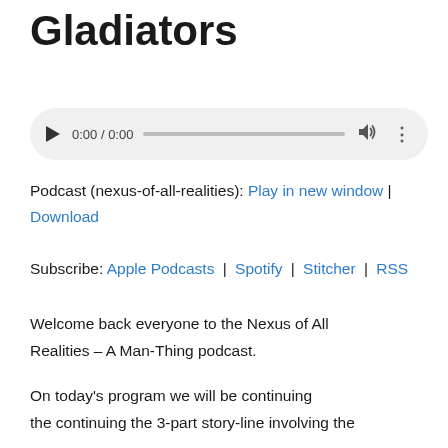Gladiators
[Figure (other): Audio player widget with play button, time display 0:00 / 0:00, progress bar, volume icon, and more options dots icon]
Podcast (nexus-of-all-realities): Play in new window | Download
Subscribe: Apple Podcasts | Spotify | Stitcher | RSS
Welcome back everyone to the Nexus of All Realities – A Man-Thing podcast.
On today's program we will be continuing the continuing the 3-part story-line involving the